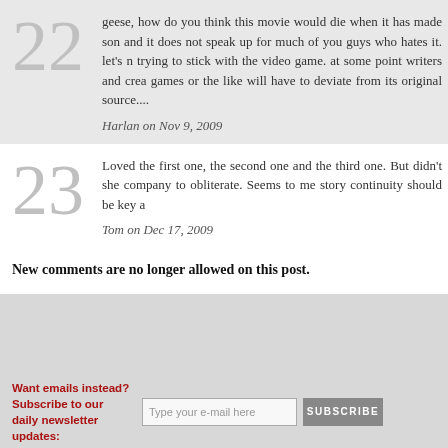22 — geese, how do you think this movie would die when it has made som and it does not speak up for much of you guys who hates it. let's n trying to stick with the video game. at some point writers and cre games or the like will have to deviate from its original source.... Harlan on Nov 9, 2009
23 — Loved the first one, the second one and the third one. But didn't she company to obliterate. Seems to me story continuity should be key a Tom on Dec 17, 2009
New comments are no longer allowed on this post.
Want emails instead? Subscribe to our daily newsletter updates: